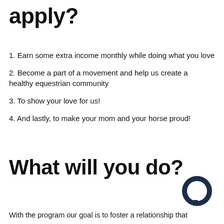apply?
1. Earn some extra income monthly while doing what you love
2. Become a part of a movement and help us create a healthy equestrian community
3. To show your love for us!
4. And lastly, to make your mom and your horse proud!
What will you do?
[Figure (logo): Dark navy blue chat bubble / speech bubble icon]
With the program our goal is to foster a relationship that